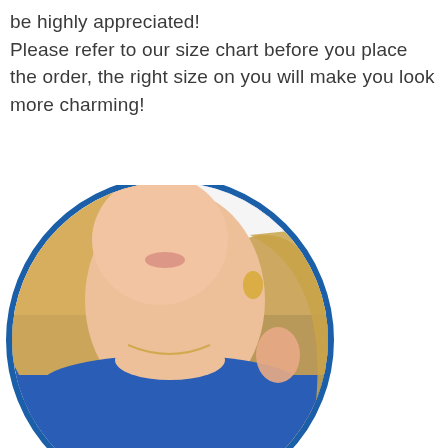be highly appreciated! Please refer to our size chart before you place the order, the right size on you will make you look more charming!
[Figure (photo): A woman with blonde wavy hair wearing a blue crew-neck top, shown from the shoulders up in a circular crop with a blue border. She is smiling and touching her hair.]